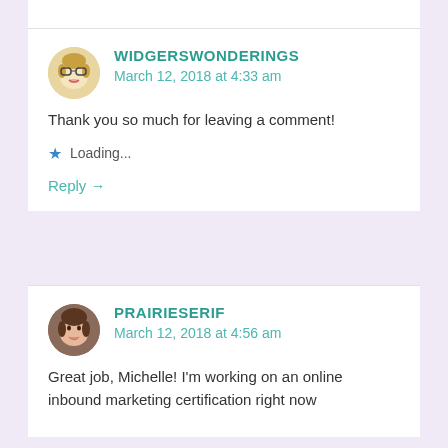WIDGERSWONDERINGS
March 12, 2018 at 4:33 am
Thank you so much for leaving a comment!
Loading...
Reply →
PRAIRIESERIF
March 12, 2018 at 4:56 am
Great job, Michelle! I'm working on an online inbound marketing certification right now